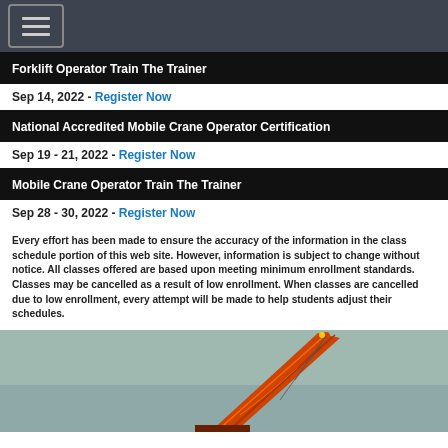Forklift Operator Train The Trainer
Sep 14, 2022 - Register Now
National Accredited Mobile Crane Operator Certification
Sep 19 - 21, 2022 - Register Now
Mobile Crane Operator Train The Trainer
Sep 28 - 30, 2022 - Register Now
Every effort has been made to ensure the accuracy of the information in the class schedule portion of this web site. However, information is subject to change without notice. All classes offered are based upon meeting minimum enrollment standards. Classes may be cancelled as a result of low enrollment. When classes are cancelled due to low enrollment, every attempt will be made to help students adjust their schedules.
[Figure (photo): Orange mobile crane boom against a grey sky]